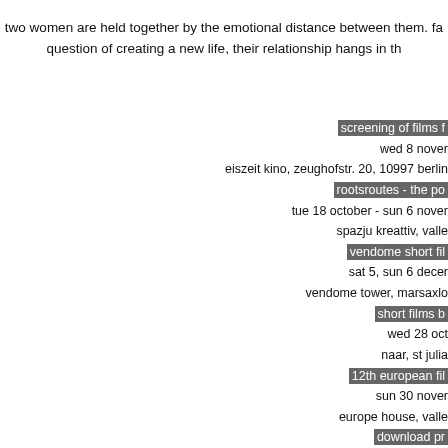two women are held together by the emotional distance between them. fa question of creating a new life, their relationship hangs in th
screening of films f
wed 8 nover
eiszeit kino, zeughofstr. 20, 10997 berlin
rootsroutes - the po
tue 18 october - sun 6 nover
spazju kreattiv, valle
vendome short fil
sat 5, sun 6 decer
vendome tower, marsaxlo
short films b
wed 28 oct
naar, st julia
12th european fil
sun 30 nover
europe house, valle
download pr